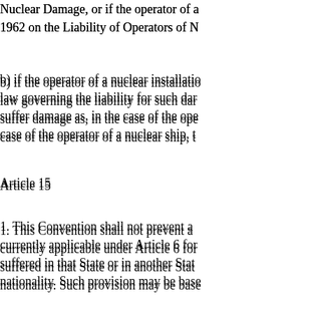Nuclear Damage, or if the operator of a 1962 on the Liability of Operators of N
b) if the operator of a nuclear installation law governing the liability for such dar suffer damage as, in the case of the ope case of the operator of a nuclear ship, t
Article 15
1. This Convention shall not prevent a currently applicable under Article 6 for suffered in that State or in another Stat nationality. Such provision may be base
2. The courts of each State Party shall a entitled under the provisions of this Art liability.
3. Nothing in this Article shall affect th in respect of which the provision made